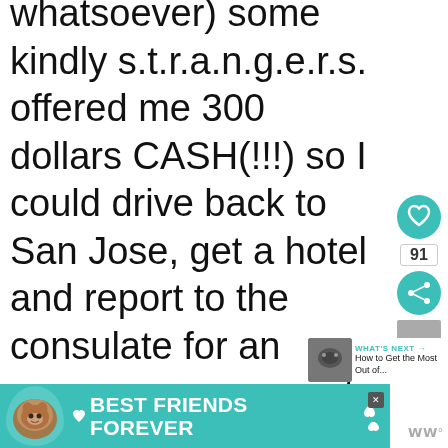whatsoever) some kindly s.t.r.a.n.g.e.r.s. offered me 300 dollars CASH(!!!) so I could drive back to San Jose, get a hotel and report to the consulate for an emergency passport. That (like you) was but an easy-peasy hour so, plus $100 for the
[Figure (screenshot): Social media sidebar with heart/like button showing 91 likes, share button, and a 'What's Next' thumbnail preview saying 'How to Get the Most Out of...']
[Figure (photo): Advertisement banner with teal background showing a cat and text 'BEST FRIENDS FOREVER' with hearts]